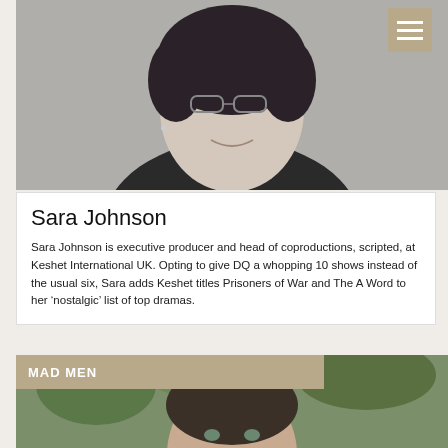[Figure (photo): Black and white headshot of Sara Johnson, a woman with curly dark hair and glasses, smiling]
Sara Johnson
Sara Johnson is executive producer and head of coproductions, scripted, at Keshet International UK. Opting to give DQ a whopping 10 shows instead of the usual six, Sara adds Keshet titles Prisoners of War and The A Word to her ‘nostalgic’ list of top dramas.
MAD MEN
[Figure (photo): Color photo of a man with dark hair against a green leafy background]